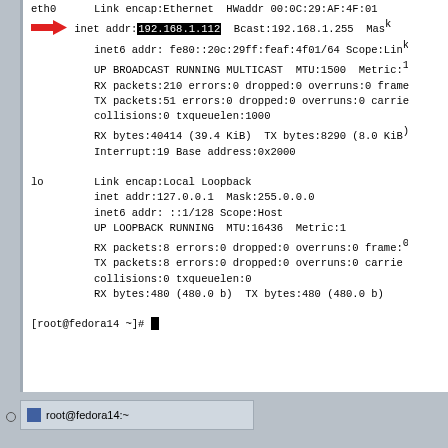[Figure (screenshot): Linux terminal screenshot showing ifconfig output for eth0 and lo interfaces on Fedora 14. The IP address 192.168.1.112 is highlighted with a black box and pointed to by a red arrow. A taskbar at the bottom shows 'root@fedora14:~'.]